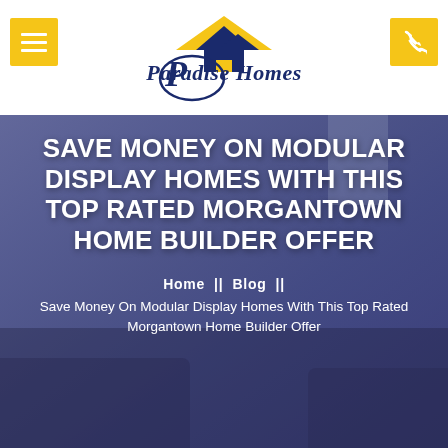Paradise Homes
[Figure (photo): Hero section with a living room background overlaid with a blue-purple tint, containing a large white headline and breadcrumb navigation]
SAVE MONEY ON MODULAR DISPLAY HOMES WITH THIS TOP RATED MORGANTOWN HOME BUILDER OFFER
Home || Blog ||
Save Money On Modular Display Homes With This Top Rated Morgantown Home Builder Offer